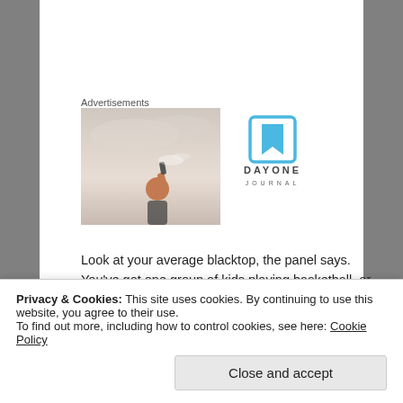Advertisements
[Figure (photo): A person holding up a spray can against a light sky background, seen from behind, with orange/brown hair visible.]
[Figure (logo): Day One Journal app logo: a blue square with a bookmark icon, and text 'DAYONE JOURNAL' below.]
Look at your average blacktop, the panel says. You've got one group of kids playing basketball, or some kind of ball, while many of other kids sit on a bench, or against a wall, with nothing to do. Asphalt isn't a very accommodating environment for most
Privacy & Cookies: This site uses cookies. By continuing to use this website, you agree to their use.
To find out more, including how to control cookies, see here: Cookie Policy
Close and accept